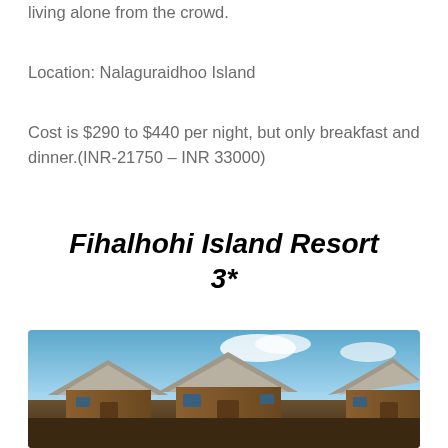living alone from the crowd.
Location: Nalaguraidhoo Island
Cost is $290 to $440 per night, but only breakfast and dinner.(INR-21750 – INR 33000)
Fihalhohi Island Resort 3*
[Figure (photo): Photo of Fihalhohi Island Resort showing wooden bungalows with thatched roofs under a blue sky with clouds]